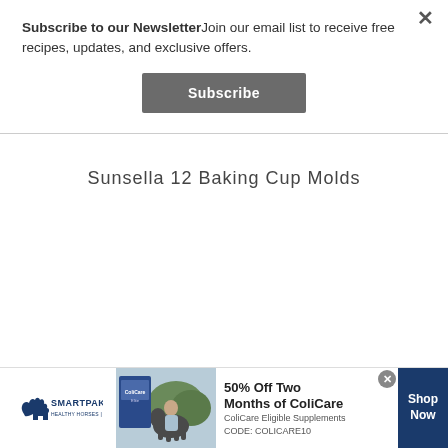Subscribe to our NewsletterJoin our email list to receive free recipes, updates, and exclusive offers.
Subscribe
Sunsella 12 Baking Cup Molds
[Figure (illustration): SmartPak advertisement banner with horse photo, product image, text '50% Off Two Months of ColiCare', 'ColiCare Eligible Supplements', 'CODE: COLICARE10', and 'Shop Now' button]